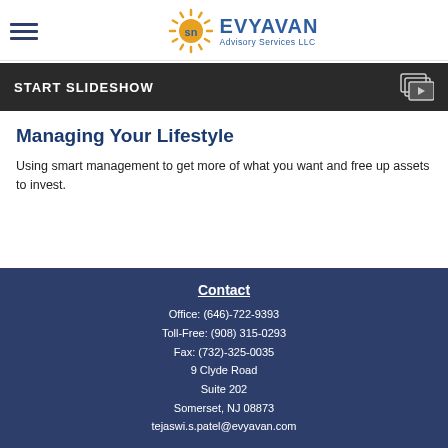EVYAVAN Advisory Services LLC
[Figure (screenshot): START SLIDESHOW banner with dark background and slideshow icon]
Managing Your Lifestyle
Using smart management to get more of what you want and free up assets to invest.
Contact
Office: (646)-722-9393
Toll-Free: (908) 315-0293
Fax: (732)-325-0035
9 Clyde Road
Suite 202
Somerset, NJ 08873
tejaswi.s.patel@evyavan.com